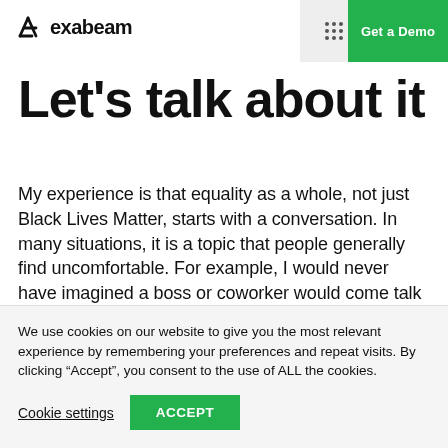exabeam — Get a Demo
Let's talk about it
My experience is that equality as a whole, not just Black Lives Matter, starts with a conversation. In many situations, it is a topic that people generally find uncomfortable. For example, I would never have imagined a boss or coworker would come talk to me about police brutality, racial violence, or all of the other
We use cookies on our website to give you the most relevant experience by remembering your preferences and repeat visits. By clicking “Accept”, you consent to the use of ALL the cookies.
Cookie settings  ACCEPT